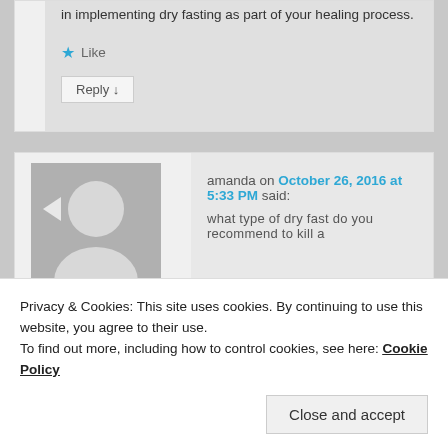in implementing dry fasting as part of your healing process.
Like
Reply ↓
[Figure (photo): Generic user avatar placeholder - grey silhouette of a person on grey background]
amanda on October 26, 2016 at 5:33 PM said:
what type of dry fast do you recommend to kill a
Privacy & Cookies: This site uses cookies. By continuing to use this website, you agree to their use.
To find out more, including how to control cookies, see here: Cookie Policy
Close and accept